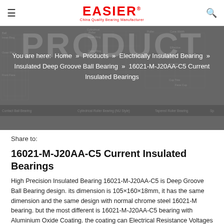EASIER — China Quality Bearing Manufacturer
[Figure (illustration): Hero banner with engineering bearing diagrams in the background (cross-section diagrams of various bearing types) overlaid with semi-transparent dark background. Breadcrumb navigation and product title overlaid.]
You are here: Home » Products » Electrically Insulated Bearing » Insulated Deep Groove Ball Bearing » 16021-M-J20AA-C5 Current Insulated Bearings
16021-M-J20AA-C5 Current Insulated Bearings
Share to:
16021-M-J20AA-C5 Current Insulated Bearings
High Precision Insulated Bearing 16021-M-J20AA-C5 is Deep Groove Ball Bearing design. its dimension is 105×160×18mm, it has the same dimension and the same design with normal chrome steel 16021-M bearing. but the most different is 16021-M-J20AA-C5 bearing with Aluminium Oxide Coating. the coating can Electrical Resistance Voltages up to 3000 V DC. This kind of bearing is suitable for high quality and applications like